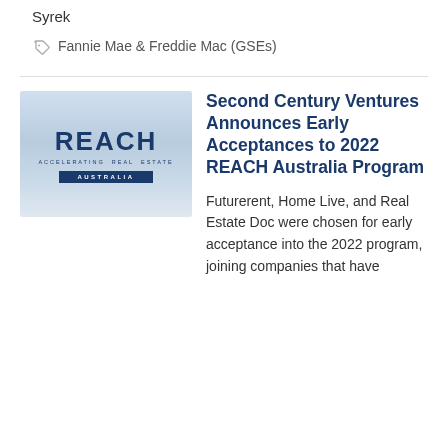Syrek
Fannie Mae & Freddie Mac (GSEs)
[Figure (logo): REACH Accelerating Real Estate Australia logo on a light blue gradient background]
Second Century Ventures Announces Early Acceptances to 2022 REACH Australia Program
Futurerent, Home Live, and Real Estate Doc were chosen for early acceptance into the 2022 program, joining companies that have